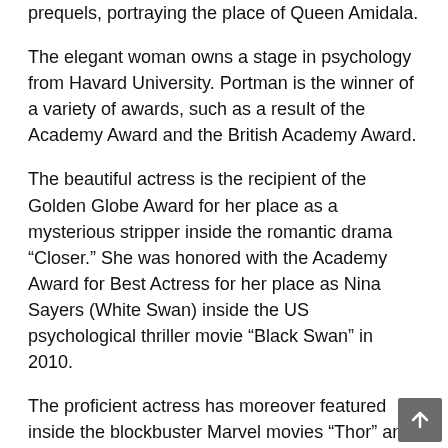prequels, portraying the place of Queen Amidala.
The elegant woman owns a stage in psychology from Havard University. Portman is the winner of a variety of awards, such as a result of the Academy Award and the British Academy Award.
The beautiful actress is the recipient of the Golden Globe Award for her place as a mysterious stripper inside the romantic drama “Closer.” She was honored with the Academy Award for Best Actress for her place as Nina Sayers (White Swan) inside the US psychological thriller movie “Black Swan” in 2010.
The proficient actress has moreover featured inside the blockbuster Marvel movies “Thor” and “Thor: The Dark World.” Portman is among the many many highest-paid actresses on this planet. She may also be featured inside the superhit romantic movies “No String Attached” and the biopic “Jackie”